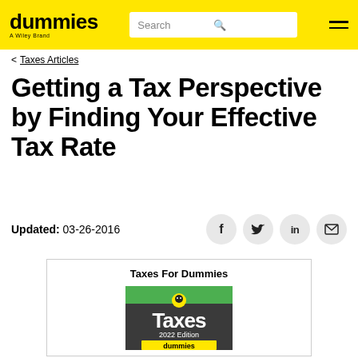dummies — A Wiley Brand | Search
< Taxes Articles
Getting a Tax Perspective by Finding Your Effective Tax Rate
Updated: 03-26-2016
[Figure (illustration): Book cover for Taxes For Dummies 2022 Edition with green and black cover design showing the word Taxes in large white text]